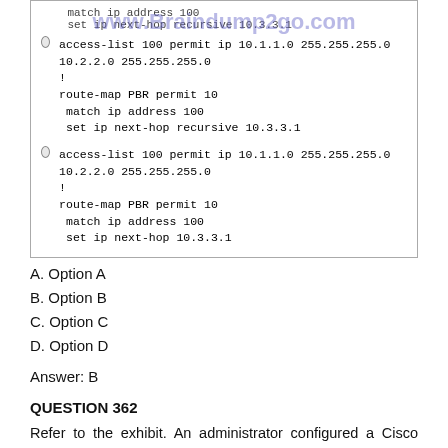[Figure (screenshot): Exhibit box showing router configuration code options with watermark www.Braindump2go.com. Two radio button options each showing: access-list 100 permit ip 10.1.1.0 255.255.255.0 10.2.2.0 255.255.255.0 / ! / route-map PBR permit 10 / match ip address 100 / set ip next-hop recursive 10.3.3.1 and set ip next-hop 10.3.3.1]
A. Option A
B. Option B
C. Option C
D. Option D
Answer: B
QUESTION 362
Refer to the exhibit. An administrator configured a Cisco router for TACACS authentication, but the router is using